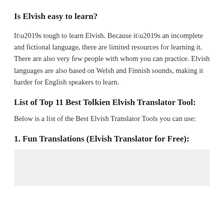Is Elvish easy to learn?
It’s tough to learn Elvish. Because it’s an incomplete and fictional language, there are limited resources for learning it. There are also very few people with whom you can practice. Elvish languages are also based on Welsh and Finnish sounds, making it harder for English speakers to learn.
List of Top 11 Best Tolkien Elvish Translator Tool:
Below is a list of the Best Elvish Translator Tools you can use:
1. Fun Translations (Elvish Translator for Free):